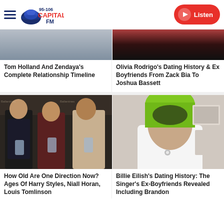[Figure (logo): Capital FM 95-106 logo with blue/red hat icon]
[Figure (photo): Tom Holland and Zendaya photo (partially cropped)]
[Figure (photo): Olivia Rodrigo photo (partially cropped, red top)]
Tom Holland And Zendaya's Complete Relationship Timeline
Olivia Rodrigo's Dating History & Ex Boyfriends From Zack Bia To Joshua Bassett
[Figure (photo): One Direction members: Zayn, Louis, Harry at event with Ballantine's backdrop]
[Figure (photo): Billie Eilish with green hair in white coat]
How Old Are One Direction Now? Ages Of Harry Styles, Niall Horan, Louis Tomlinson
Billie Eilish's Dating History: The Singer's Ex-Boyfriends Revealed Including Brandon